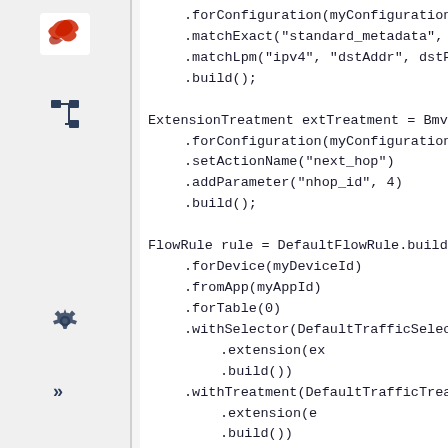[Figure (screenshot): IDE sidebar with logo (bird icon), tree/hierarchy icon, settings gear icon, and chevron icon]
.forConfiguration(myConfiguration)
.matchExact("standard_metadata", "i
.matchLpm("ipv4", "dstAddr", dstPre
.build();

ExtensionTreatment extTreatment = Bmv2Exten
        .forConfiguration(myConfiguration)
        .setActionName("next_hop")
        .addParameter("nhop_id", 4)
        .build();

FlowRule rule = DefaultFlowRule.builder()
        .forDevice(myDeviceId)
        .fromApp(myAppId)
        .forTable(0)
        .withSelector(DefaultTrafficSelecto
                                .extension(ex
                                .build())
        .withTreatment(DefaultTrafficTreatm
                                .extension(e
                                .build())
        .build();